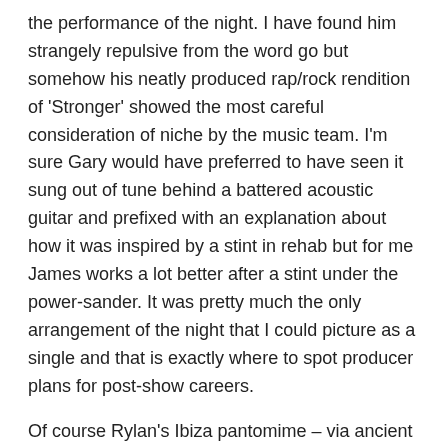the performance of the night. I have found him strangely repulsive from the word go but somehow his neatly produced rap/rock rendition of 'Stronger' showed the most careful consideration of niche by the music team. I'm sure Gary would have preferred to have seen it sung out of tune behind a battered acoustic guitar and prefixed with an explanation about how it was inspired by a stint in rehab but for me James works a lot better after a stint under the power-sander. It was pretty much the only arrangement of the night that I could picture as a single and that is exactly where to spot producer plans for post-show careers.
Of course Rylan's Ibiza pantomime – via ancient Egypt – was the anomaly of the night and we're interested to see how producers intend to pull him back from the brink this weekend. Either way, he's not there to sell records and